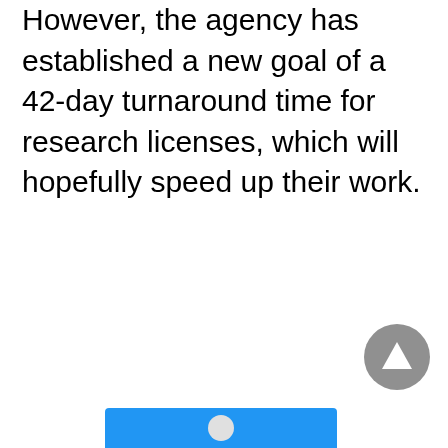However, the agency has established a new goal of a 42-day turnaround time for research licenses, which will hopefully speed up their work.
[Figure (other): Gray circular scroll-to-top button with upward-pointing triangle arrow]
[Figure (other): Blue subscribe/newsletter bar partially visible at bottom of page with avatar icon]